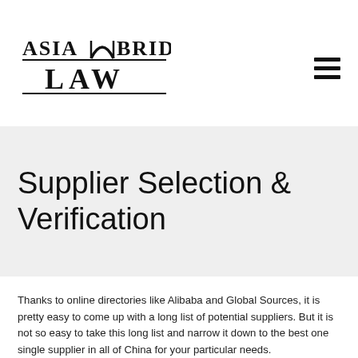[Figure (logo): Asia Bridge Law firm logo with stylized scales/bridge motif, black serif lettering]
Supplier Selection & Verification
Thanks to online directories like Alibaba and Global Sources, it is pretty easy to come up with a long list of potential suppliers. But it is not so easy to take this long list and narrow it down to the best one single supplier in all of China for your particular needs.